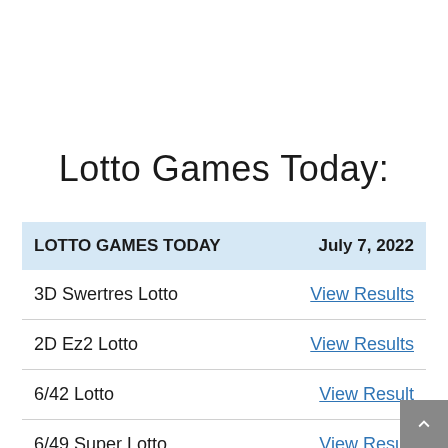Lotto Games Today:
| LOTTO GAMES TODAY | July 7, 2022 |
| --- | --- |
| 3D Swertres Lotto | View Results |
| 2D Ez2 Lotto | View Results |
| 6/42 Lotto | View Result |
| 6/49 Super Lotto | View Result |